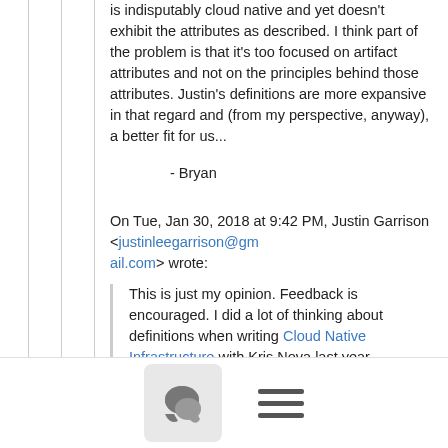is indisputably cloud native and yet doesn't exhibit the attributes as described.  I think part of the problem is that it's too focused on artifact attributes and not on the principles behind those attributes. Justin's definitions are more expansive in that regard and (from my perspective, anyway), a better fit for us...
- Bryan
On Tue, Jan 30, 2018 at 9:42 PM, Justin Garrison <justinleegarrison@gmail.com> wrote:
This is just my opinion. Feedback is encouraged. I did a lot of thinking about definitions when writing Cloud Native Infrastructure with Kris Nova last year...